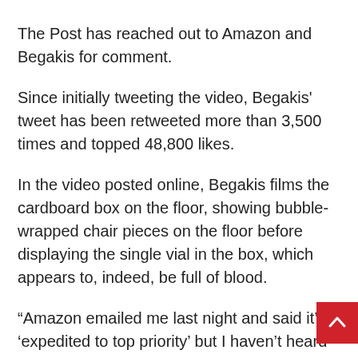The Post has reached out to Amazon and Begakis for comment.
Since initially tweeting the video, Begakis' tweet has been retweeted more than 3,500 times and topped 48,800 likes.
In the video posted online, Begakis films the cardboard box on the floor, showing bubble-wrapped chair pieces on the floor before displaying the single vial in the box, which appears to, indeed, be full of blood.
“Amazon emailed me last night and said it’s ‘expedited to top priority’ but I haven’t heard